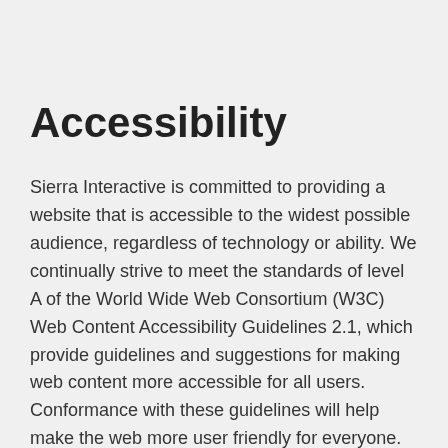Accessibility
Sierra Interactive is committed to providing a website that is accessible to the widest possible audience, regardless of technology or ability. We continually strive to meet the standards of level A of the World Wide Web Consortium (W3C) Web Content Accessibility Guidelines 2.1, which provide guidelines and suggestions for making web content more accessible for all users. Conformance with these guidelines will help make the web more user friendly for everyone.
We welcome any feedback or comments that will